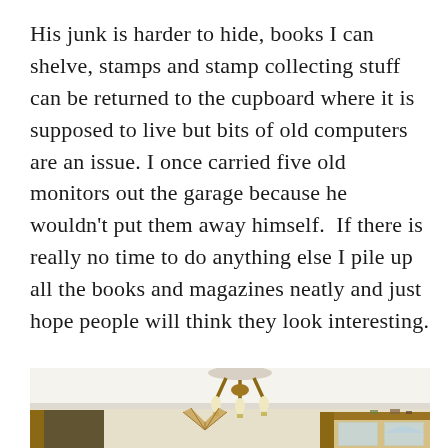His junk is harder to hide, books I can shelve, stamps and stamp collecting stuff can be returned to the cupboard where it is supposed to live but bits of old computers are an issue. I once carried five old monitors out the garage because he wouldn't put them away himself.  If there is really no time to do anything else I pile up all the books and magazines neatly and just hope people will think they look interesting.
[Figure (photo): Interior room photo showing a ceiling with a light fixture (wooden/rattan pendant lamp with bulbs), cream/light yellow walls, wooden door frame on the left, and wooden furniture (sideboard or cabinet with glass-fronted sections) on the right side.]